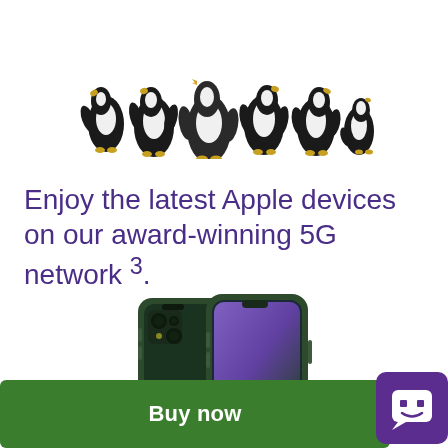[Figure (illustration): Group of penguins (black and white) in various poses, facing different directions, arranged in a horizontal cluster at the top of the page.]
Enjoy the latest Apple devices on our award-winning 5G network³.
[Figure (photo): Two green Apple iPhone 13 smartphones shown front and back, displayed side by side on a white background.]
Buy now
[Figure (illustration): Purple square chat/chatbot icon with a smiley face made of two square eyes and a curved mouth, rounded corners.]